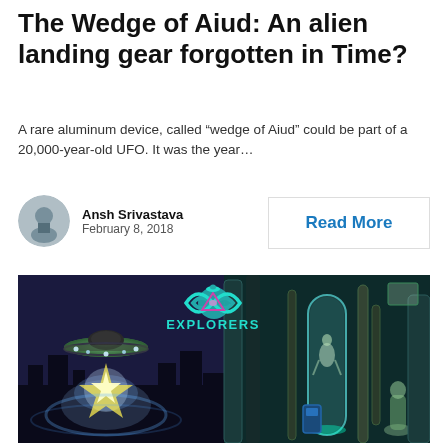The Wedge of Aiud: An alien landing gear forgotten in Time?
A rare aluminum device, called “wedge of Aiud” could be part of a 20,000-year-old UFO. It was the year…
Ansh Srivastava
February 8, 2018
Read More
[Figure (illustration): Composite illustration showing a flying saucer UFO hovering over a city on the left with a glowing energy beam beneath it, and a sci-fi laboratory scene on the right with alien figures inside cylindrical tanks. An infinity symbol logo with the word EXPLORERS is overlaid at the top center.]